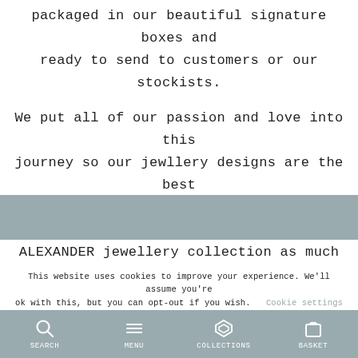packaged in our beautiful signature boxes and ready to send to customers or our stockists.
We put all of our passion and love into this journey so our jewllery designs are the best they can be.  We hope you love the SARAH ALEXANDER jewellery collection as much as we do.
This website uses cookies to improve your experience. We'll assume you're ok with this, but you can opt-out if you wish.  Cookie settings
SEARCH   MENU   COLLECTIONS   BASKET